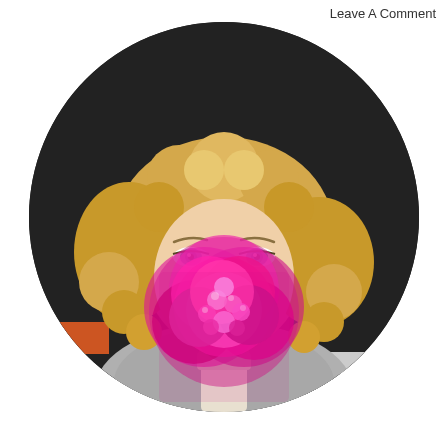Leave A Comment
[Figure (photo): Circular cropped portrait photo of a woman with curly blonde hair and blue eyes, holding a bouquet of vivid pink/magenta flowers in front of her face, wearing a grey sweater, photographed against a dark background with orange and white horizontal stripe elements.]